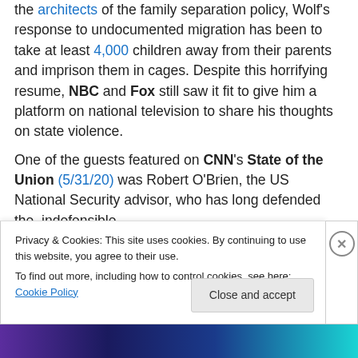the architects of the family separation policy, Wolf's response to undocumented migration has been to take at least 4,000 children away from their parents and imprison them in cages. Despite this horrifying resume, NBC and Fox still saw it fit to give him a platform on national television to share his thoughts on state violence.
One of the guests featured on CNN's State of the Union (5/31/20) was Robert O'Brien, the US National Security advisor, who has long defended the indefensible
including Trump's pardon of war criminals and
Privacy & Cookies: This site uses cookies. By continuing to use this website, you agree to their use.
To find out more, including how to control cookies, see here: Cookie Policy